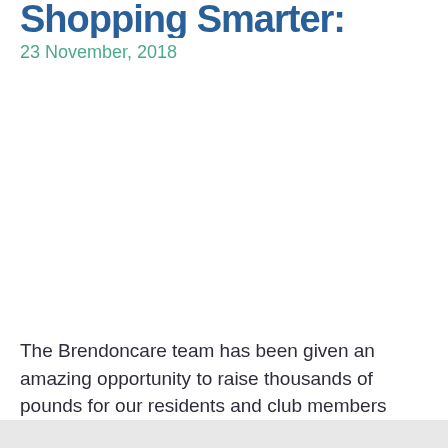Shopping Smarter:
23 November, 2018
The Brendoncare team has been given an amazing opportunity to raise thousands of pounds for our residents and club members without spending any time, money, or energy!